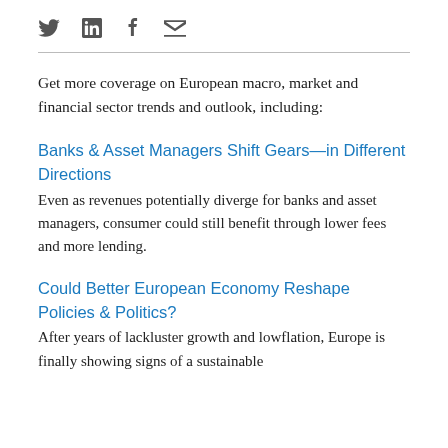social icons: twitter, linkedin, facebook, email
Get more coverage on European macro, market and financial sector trends and outlook, including:
Banks & Asset Managers Shift Gears—in Different Directions
Even as revenues potentially diverge for banks and asset managers, consumer could still benefit through lower fees and more lending.
Could Better European Economy Reshape Policies & Politics?
After years of lackluster growth and lowflation, Europe is finally showing signs of a sustainable